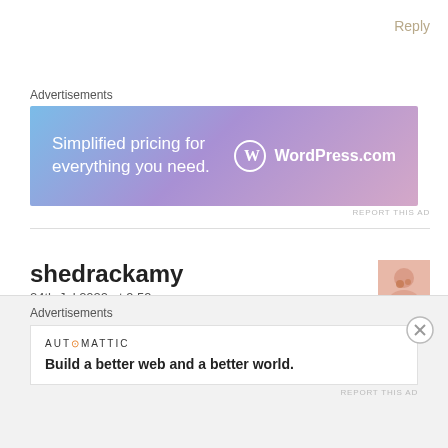Reply
Advertisements
[Figure (screenshot): WordPress.com advertisement banner with gradient blue-purple-pink background. Text: 'Simplified pricing for everything you need.' with WordPress.com logo on the right.]
REPORT THIS AD
shedrackamy
24th Jul 2020 at 9:59 am
https://amyshedrack200.wordpress.com/2020/07/23/say-no-to-rape
Advertisements
[Figure (screenshot): Automattic advertisement. Logo: 'AUTOMATTIC'. Text: 'Build a better web and a better world.']